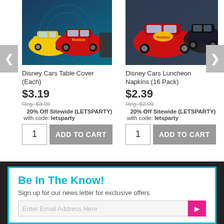[Figure (screenshot): Disney Cars Table Cover product image with yellow and red cars on blue background]
Disney Cars Table Cover (Each)
$3.19
Reg. $3.99
20% Off Sitewide (LETSPARTY)
with code: letsparty
[Figure (screenshot): Disney Cars Luncheon Napkins product image with red and black cars]
Disney Cars Luncheon Napkins (16 Pack)
$2.39
Reg. $2.99
20% Off Sitewide (LETSPARTY)
with code: letsparty
Be In The Know!
Sign up for our news letter for exclusive offers
Enter Email Address Here